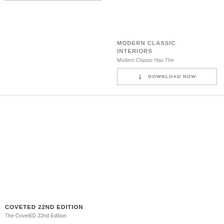[Figure (photo): Top-left cell: partial view of a book cover image, cropped at top with a thin border line visible]
MODERN CLASSIC INTERIORS
Modern Classic Has The
DOWNLOAD NOW
[Figure (photo): Bottom-left cell: large white/blank area representing a book cover image placeholder]
COVETED 22ND EDITION
The CovetED 22nd Edition
[Figure (photo): Bottom-right cell: large white/blank area representing a book cover image placeholder]